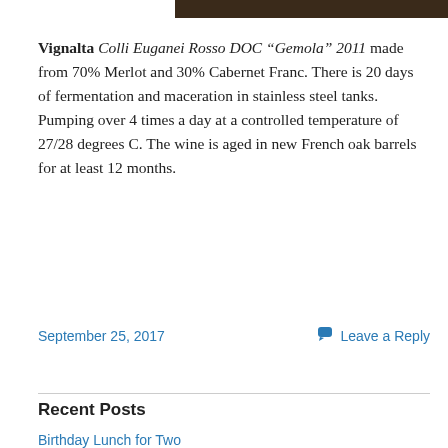[Figure (photo): Partial dark photograph visible at the top of the page]
Vignalta Colli Euganei Rosso DOC “Gemola” 2011 made from 70% Merlot and 30% Cabernet Franc. There is 20 days of fermentation and maceration in stainless steel tanks. Pumping over 4 times a day at a controlled temperature of 27/28 degrees C. The wine is aged in new French oak barrels for at least 12 months.
September 25, 2017
Leave a Reply
Recent Posts
Birthday Lunch for Two
Soprano’s Family Dinner for Cancer Care
Jeremy Parzen on the Coming Italian Grape Harvest